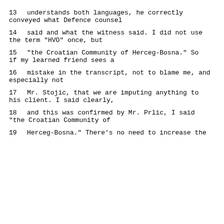13     understands both languages, he correctly conveyed what Defence counsel
14     said and what the witness said.  I did not use the term "HVO" once, but
15     "the Croatian Community of Herceg-Bosna."  So if my learned friend sees a
16     mistake in the transcript, not to blame me, and especially not
17     Mr. Stojic, that we are imputing anything to his client.  I said clearly,
18     and this was confirmed by Mr. Prlic, I said "the Croatian Community of
19     Herceg-Bosna."  There's no need to increase the